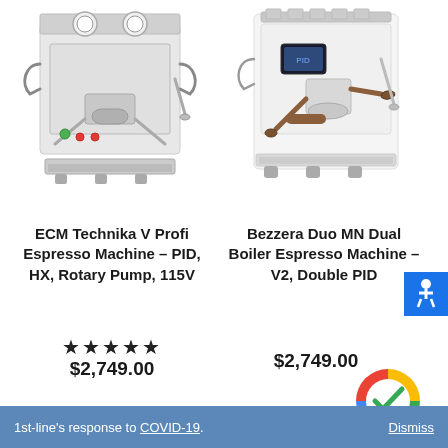[Figure (photo): ECM Technika V Profi espresso machine, stainless steel, with two pressure gauges on top, rotary pump, front-facing view]
ECM Technika V Profi Espresso Machine – PID, HX, Rotary Pump, 115V
★★★★★
$2,749.00
[Figure (photo): Bezzera Duo MN Dual Boiler espresso machine, white body with wooden accents, front-facing view]
Bezzera Duo MN Dual Boiler Espresso Machine – V2, Double PID
$2,749.00
[Figure (logo): Google-colored circular checkmark badge (green checkmark with red, yellow, green, blue pie segments)]
1st-line's response to COVID-19.    Dismiss